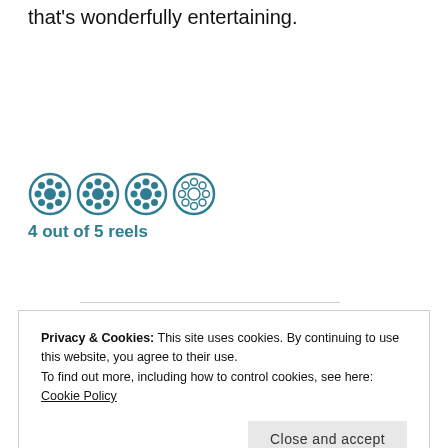that's wonderfully entertaining.
[Figure (illustration): Four teal film reel icons in a row representing a rating system]
4 out of 5 reels
Privacy & Cookies: This site uses cookies. By continuing to use this website, you agree to their use.
To find out more, including how to control cookies, see here: Cookie Policy